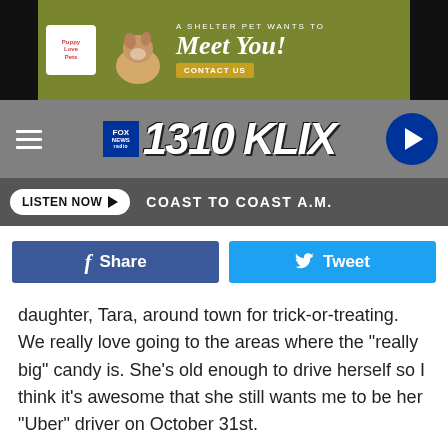[Figure (screenshot): Advertisement banner: shelter pet 'Meet You!' with dog image, logo and contact button on olive green background]
[Figure (logo): FOX News Radio 1310 KLIX navigation bar with hamburger menu and play button]
[Figure (screenshot): Listen Now button with Coast to Coast A.M. text on dark gray bar]
[Figure (screenshot): Facebook Share and Twitter Tweet social sharing buttons]
daughter, Tara, around town for trick-or-treating. We really love going to the areas where the "really big" candy is. She's old enough to drive herself so I think it's awesome that she still wants me to be her "Uber" driver on October 31st.
[Figure (screenshot): KLIX News Radio logo with GET OUR FREE MOBILE APP button on light gray background]
[Figure (screenshot): Advertisement: Nate Smith 8/12 Home Grown Fun concert ad, tickets on sale JeromeCountyFair.com]